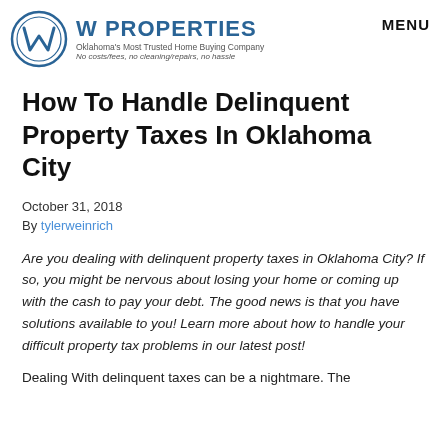[Figure (logo): W Properties logo with circular W emblem and text 'W PROPERTIES - Oklahoma's Most Trusted Home Buying Company. No costs/fees, no cleaning/repairs, no hassle']
MENU
How To Handle Delinquent Property Taxes In Oklahoma City
October 31, 2018
By tylerweinrich
Are you dealing with delinquent property taxes in Oklahoma City? If so, you might be nervous about losing your home or coming up with the cash to pay your debt. The good news is that you have solutions available to you! Learn more about how to handle your difficult property tax problems in our latest post!
Dealing With delinquent taxes can be a nightmare. The